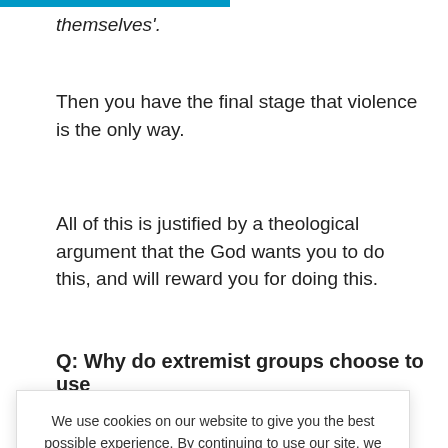themselves'.
Then you have the final stage that violence is the only way.
All of this is justified by a theological argument that the God wants you to do this, and will reward you for doing this.
Q: Why do extremist groups choose to use
We use cookies on our website to give you the best possible experience. By continuing to use our site, we assume you are OK with that.
Al-
that they
st.  They
want to create fear, terror and a division